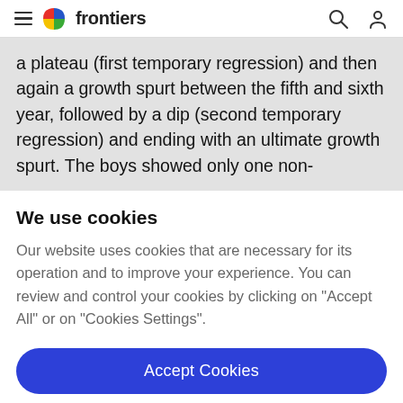frontiers
a plateau (first temporary regression) and then again a growth spurt between the fifth and sixth year, followed by a dip (second temporary regression) and ending with an ultimate growth spurt. The boys showed only one non-
We use cookies
Our website uses cookies that are necessary for its operation and to improve your experience. You can review and control your cookies by clicking on "Accept All" or on "Cookies Settings".
Accept Cookies
Cookies Settings